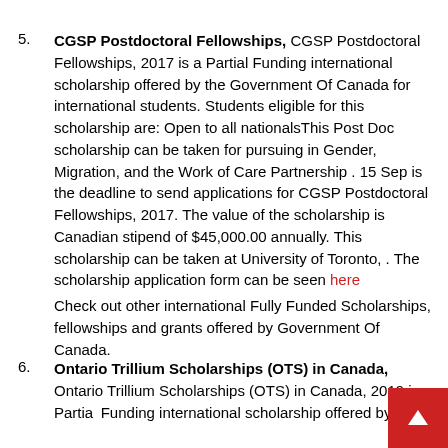5. CGSP Postdoctoral Fellowships, CGSP Postdoctoral Fellowships, 2017 is a Partial Funding international scholarship offered by the Government Of Canada for international students. Students eligible for this scholarship are: Open to all nationalsThis Post Doc scholarship can be taken for pursuing in Gender, Migration, and the Work of Care Partnership . 15 Sep is the deadline to send applications for CGSP Postdoctoral Fellowships, 2017. The value of the scholarship is Canadian stipend of $45,000.00 annually. This scholarship can be taken at University of Toronto, . The scholarship application form can be seen here
Check out other international Fully Funded Scholarships, fellowships and grants offered by Government Of Canada.
6. Ontario Trillium Scholarships (OTS) in Canada, Ontario Trillium Scholarships (OTS) in Canada, 2019 is a Partial Funding international scholarship offered by